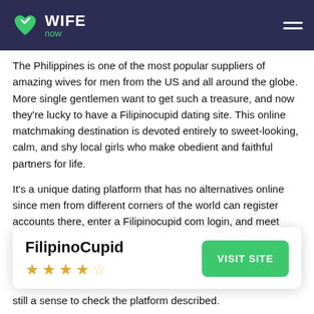WIFE now
The Philippines is one of the most popular suppliers of amazing wives for men from the US and all around the globe. More single gentlemen want to get such a treasure, and now they're lucky to have a Filipinocupid dating site. This online matchmaking destination is devoted entirely to sweet-looking, calm, and shy local girls who make obedient and faithful partners for life.
It's a unique dating platform that has no alternatives online since men from different corners of the world can register accounts there, enter a Filipinocupid com login, and meet stunning Filipina ladies at the click of a button. If you're interested in Asian dating, undoubtedly, Easterhoneys and Orchidromance will give a much wider choice of
FilipinoCupid
★ ★ ★ ★ ☆
VISIT SITE
still a sense to check the platform described.